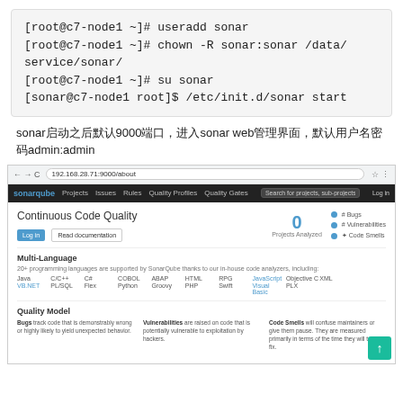[Figure (screenshot): Terminal code block showing commands: useradd sonar, chown -R sonar:sonar /data/service/sonar/, su sonar, /etc/init.d/sonar start]
sonar启动之后默认9000端口，进入sonar web管理界面，默认用户名密码admin:admin
[Figure (screenshot): Screenshot of SonarQube web interface showing Continuous Code Quality page at 192.168.28.71:9000, with 0 Projects Analyzed, Multi-Language support section, and Quality Model section]